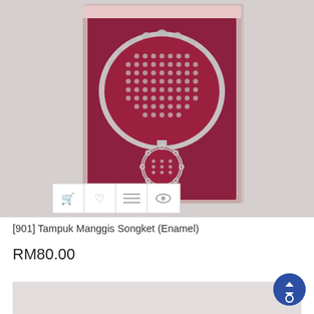[Figure (photo): A decorative brooch/pin called Tampuk Manggis Songket (Enamel) displayed in a red/pink velvet-lined gift box. The brooch is silver-toned with red enamel detailing in a traditional Malaysian songket pattern, featuring a scalloped top piece and a round pendant. Four action icons are visible at the bottom-left of the image: shopping cart, heart/wishlist, list, and eye/preview.]
[901] Tampuk Manggis Songket (Enamel)
RM80.00
[Figure (photo): Partial view of another product image at the bottom of the page, partially cut off.]